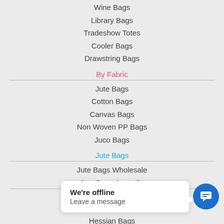Wine Bags
Library Bags
Tradeshow Totes
Cooler Bags
Drawstring Bags
By Fabric
Jute Bags
Cotton Bags
Canvas Bags
Non Woven PP Bags
Juco Bags
Jute Bags
Jute Bags Wholesale
Jute Bags Australia
Printed Jute Bags
Jute Shopping Bags
Hessian Bags
Hessian Shopping Bags
Cotton Bags
We're offline
Leave a message